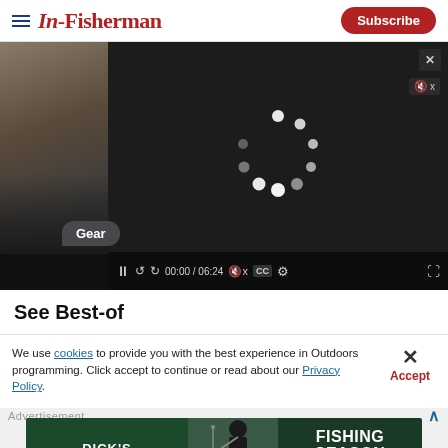In-Fisherman | Subscribe
[Figure (screenshot): Video player overlay showing a fishing/tackle video thumbnail with a play button in the background, overlaid by a dark video player loading spinner, video controls bar showing 00:00 / 06:24 timestamp, pause, skip, mute, CC, settings and fullscreen buttons. A 'Gear' category tag appears at bottom left.]
See Best-of
We use cookies to provide you with the best experience in Outdoors programming. Click accept to continue or read about our Privacy Policy.
[Figure (photo): Dick's Sporting Goods banner advertisement: FISHING SEASON STARTS HERE]
Advertisement